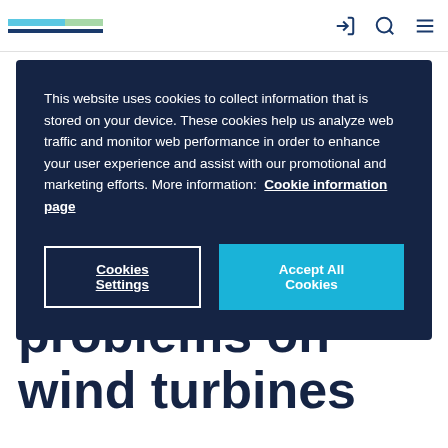[Logo with colored bars] [navigation icons]
This website uses cookies to collect information that is stored on your device. These cookies help us analyze web traffic and monitor web performance in order to enhance your user experience and assist with our promotional and marketing efforts. More information: Cookie information page
Cookies Settings | Accept All Cookies
discover structural problems on wind turbines